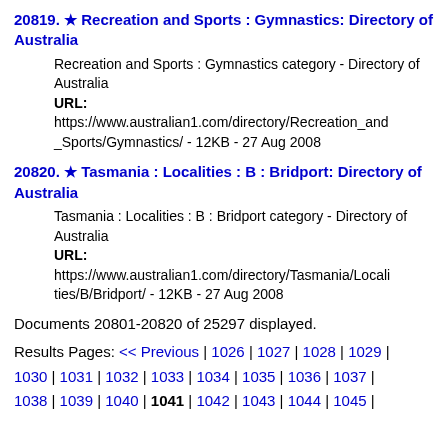20819. ★ Recreation and Sports : Gymnastics: Directory of Australia
Recreation and Sports : Gymnastics category - Directory of Australia
URL:
https://www.australian1.com/directory/Recreation_and_Sports/Gymnastics/ - 12KB - 27 Aug 2008
20820. ★ Tasmania : Localities : B : Bridport: Directory of Australia
Tasmania : Localities : B : Bridport category - Directory of Australia
URL:
https://www.australian1.com/directory/Tasmania/Localities/B/Bridport/ - 12KB - 27 Aug 2008
Documents 20801-20820 of 25297 displayed.
Results Pages: << Previous | 1026 | 1027 | 1028 | 1029 | 1030 | 1031 | 1032 | 1033 | 1034 | 1035 | 1036 | 1037 | 1038 | 1039 | 1040 | 1041 | 1042 | 1043 | 1044 | 1045 |